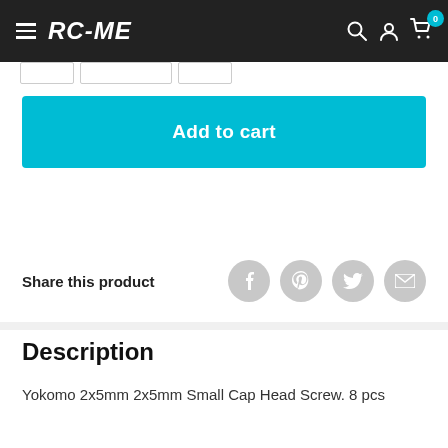RC-ME
Add to cart
Share this product
Description
Yokomo 2x5mm 2x5mm Small Cap Head Screw. 8 pcs